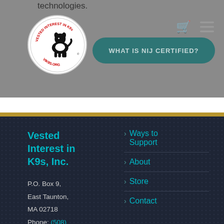technologies.
[Figure (logo): Vested Interest in K9s circular logo with dog silhouette and text VIK9S.ORG]
WHAT IS NIJ CERTIFIED?
Vested Interest in K9s, Inc.
P.O. Box 9,
East Taunton,
MA 02718
Phone: (508)
> Ways to Support
> About
> Store
> Contact